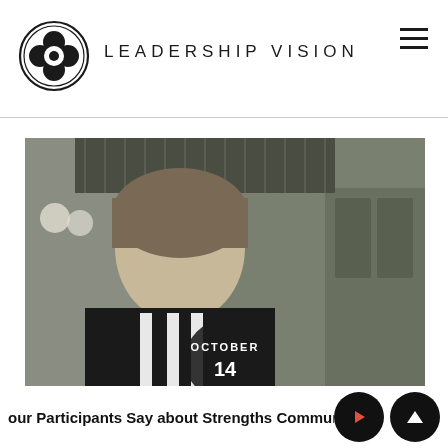LEADERSHIP VISION
[Figure (photo): A woman with short hair wearing a black jacket and black-and-white striped scarf, photographed in front of ornate iron fencing and green doors. A dark circular overlay in the lower center shows 'OCTOBER 14'.]
our Participants Say about Strengths Commur